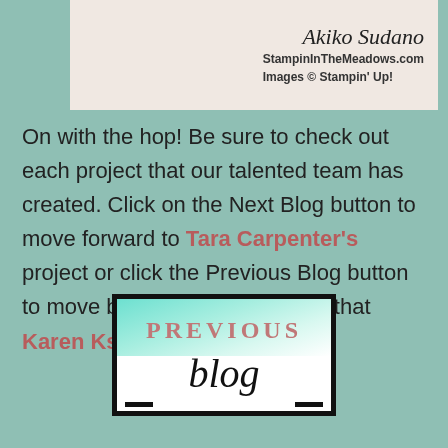[Figure (photo): Partial photo of hands with craft project, with signature 'Akiko Sudano', website 'StampinInTheMeadows.com', and 'Images © Stampin' Up!']
On with the hop! Be sure to check out each project that our talented team has created. Click on the Next Blog button to move forward to Tara Carpenter's project or click the Previous Blog button to move back to see the project that Karen Ksenzakovic created.
[Figure (illustration): Button graphic showing 'PREVIOUS blog' text in a bordered box with teal gradient background]